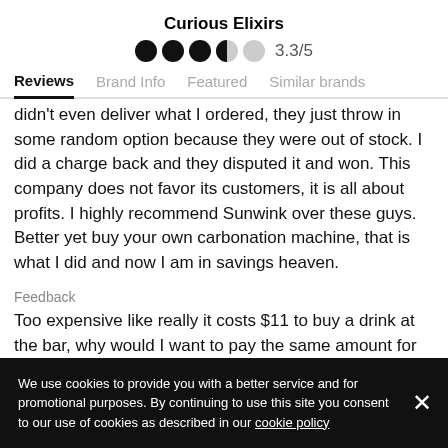Curious Elixirs
[Figure (other): Star/dot rating: 3 full dots, 1 half dot, 1 empty dot. Rating: 3.3/5]
Reviews  Brand Info  Featured  Similar brands
didn't even deliver what I ordered, they just throw in some random option because they were out of stock. I did a charge back and they disputed it and won. This company does not favor its customers, it is all about profits. I highly recommend Sunwink over these guys. Better yet buy your own carbonation machine, that is what I did and now I am in savings heaven.
Feedback
Too expensive like really it costs $11 to buy a drink at the bar, why would I want to pay the same amount for
We use cookies to provide you with a better service and for promotional purposes. By continuing to use this site you consent to our use of cookies as described in our cookie policy